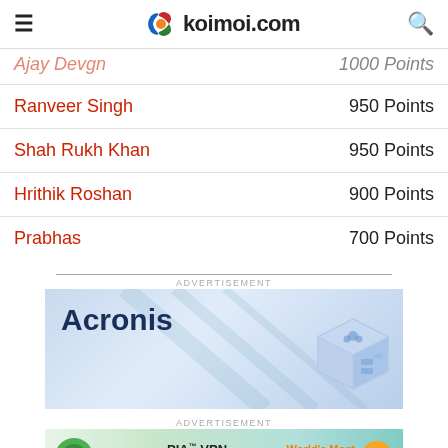koimoi.com
Ranveer Singh — 950 Points
Shah Rukh Khan — 950 Points
Hrithik Roshan — 900 Points
Prabhas — 700 Points
[Figure (screenshot): Acronis advertisement banner with logo and illustrated server/cloud box graphic on light blue gradient background]
[Figure (screenshot): PIA VPN advertisement banner showing Private Internet Access logo, PIA VPN Official Site text, World's Most Trusted VPN tagline, and orange arrow button]